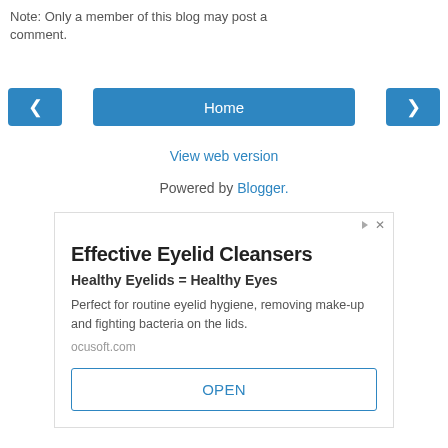Note: Only a member of this blog may post a comment.
[Figure (other): Navigation bar with left arrow button, Home button, and right arrow button]
View web version
Powered by Blogger.
[Figure (other): Advertisement box for Effective Eyelid Cleansers by ocusoft.com with title 'Healthy Eyelids = Healthy Eyes', body text, domain, and OPEN button]